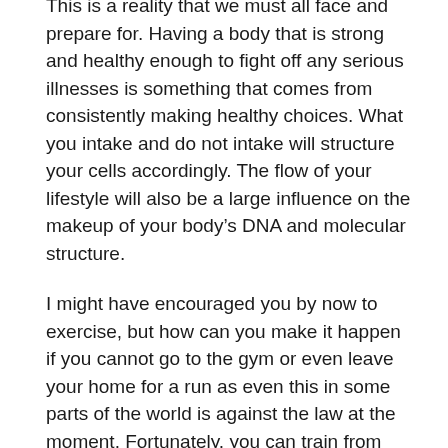This is a reality that we must all face and prepare for. Having a body that is strong and healthy enough to fight off any serious illnesses is something that comes from consistently making healthy choices. What you intake and do not intake will structure your cells accordingly. The flow of your lifestyle will also be a large influence on the makeup of your body's DNA and molecular structure.
I might have encouraged you by now to exercise, but how can you make it happen if you cannot go to the gym or even leave your home for a run as even this in some parts of the world is against the law at the moment. Fortunately, you can train from home and even help others to train at home. So if you want to learn how to train fitness clients at home I would like you to know that NESTA is giving away the entire Home Gym Profit Center for free to help get trainers and coaches set up training clients at their home. With our certification, you become a...